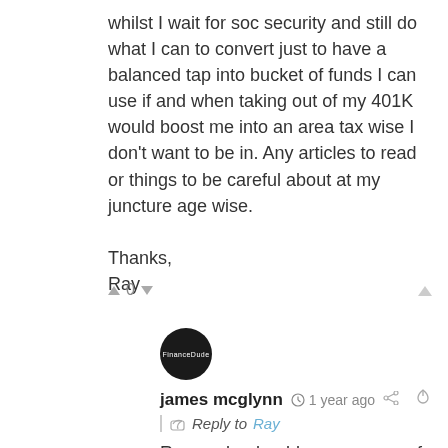whilst I wait for soc security and still do what I can to convert just to have a balanced tap into bucket of funds I can use if and when taking out of my 401K would boost me into an area tax wise I don't want to be in. Any articles to read or things to be careful about at my juncture age wise.

Thanks,
Ray
james mcglynn  1 year ago
Reply to Ray
Ray my book addresses many of these topics. As I wrote it from a 55 year old's perspective planning for retirement.